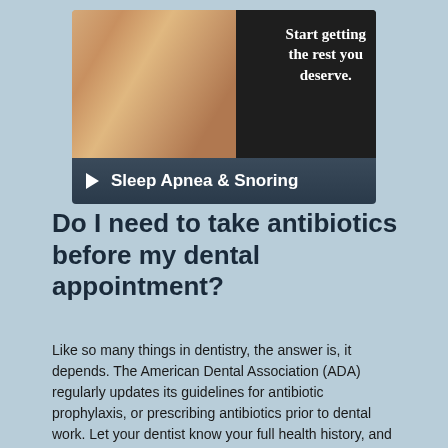[Figure (illustration): Banner image showing a woman sleeping/resting with text 'Start getting the rest you deserve.' on dark background, below a teal/dark bar reading '▶ Sleep Apnea & Snoring']
Do I need to take antibiotics before my dental appointment?
Like so many things in dentistry, the answer is, it depends. The American Dental Association (ADA) regularly updates its guidelines for antibiotic prophylaxis, or prescribing antibiotics prior to dental work. Let your dentist know your full health history, and he or she will decide whether pre-treatment antibiotics are right for you.